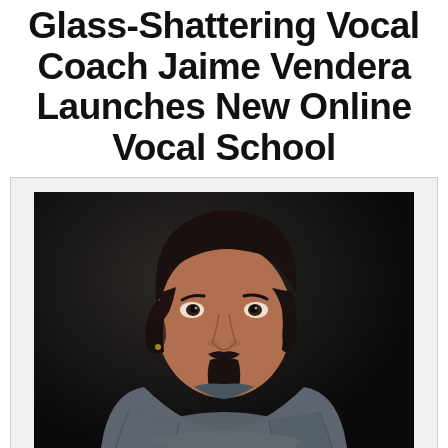Glass-Shattering Vocal Coach Jaime Vendera Launches New Online Vocal School
[Figure (photo): Portrait photo of a man with dark hair, goatee, wearing a grey t-shirt, arms crossed, against a dark background. This is Jaime Vendera, vocal coach.]